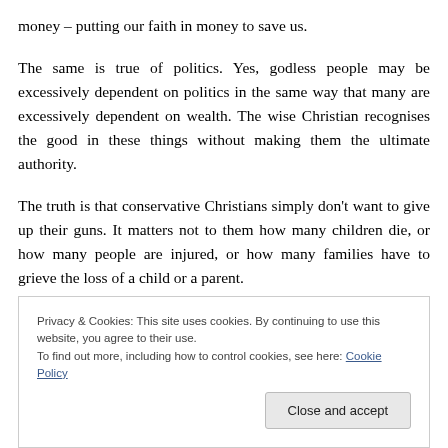money – putting our faith in money to save us.
The same is true of politics. Yes, godless people may be excessively dependent on politics in the same way that many are excessively dependent on wealth. The wise Christian recognises the good in these things without making them the ultimate authority.
The truth is that conservative Christians simply don't want to give up their guns. It matters not to them how many children die, or how many people are injured, or how many families have to grieve the loss of a child or a parent.
Privacy & Cookies: This site uses cookies. By continuing to use this website, you agree to their use.
To find out more, including how to control cookies, see here: Cookie Policy